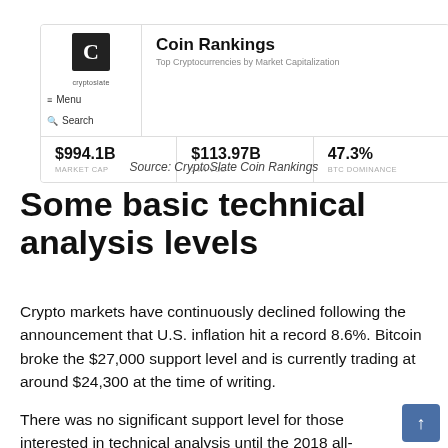[Figure (screenshot): CryptoSlate Coin Rankings UI screenshot showing Market Cap $994.1B, 24h Vol $113.97B, BTC Dominance 47.3%]
Source: CryptoSlate Coin Rankings
Some basic technical analysis levels
Crypto markets have continuously declined following the announcement that U.S. inflation hit a record 8.6%. Bitcoin broke the $27,000 support level and is currently trading at around $24,300 at the time of writing.
There was no significant support level for those interested in technical analysis until the 2018 all-